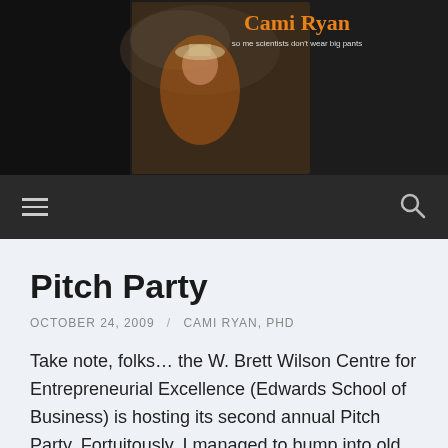[Figure (photo): Website header banner for 'Cami Ryan' blog featuring two photos of a woman in a cowboy hat and orange jacket, with text 'so me scientists don't wear big pants' and word cloud related to agriculture, food, animal welfare topics. Dark background.]
Navigation bar with hamburger menu icon and search icon
Pitch Party
OCTOBER 24, 2009 / CAMI RYAN, PHD
Take note, folks… the W. Brett Wilson Centre for Entrepreneurial Excellence (Edwards School of Business) is hosting its second annual Pitch Party. Fortuitously, I managed to bump into old colleague and friend Sanj Singh (Director of the Centre) and he notified me of it. I feel SO out of the loop! Now that I am back in